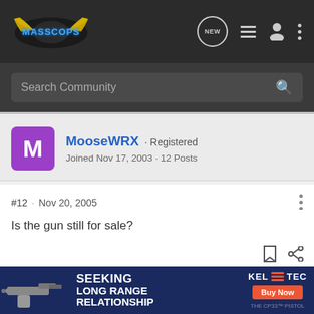[Figure (logo): MassCops forum logo on dark navigation bar with icons: NEW chat bubble, list icon, user icon, vertical dots]
Search Community
MooseWRX · Registered
Joined Nov 17, 2003 · 12 Posts
#12 · Nov 20, 2005
Is the gun still for sale?
[Figure (photo): Advertisement banner: Kel-Tec CP33 pistol ad reading SEEKING LONG RANGE RELATIONSHIP with Buy Now button]